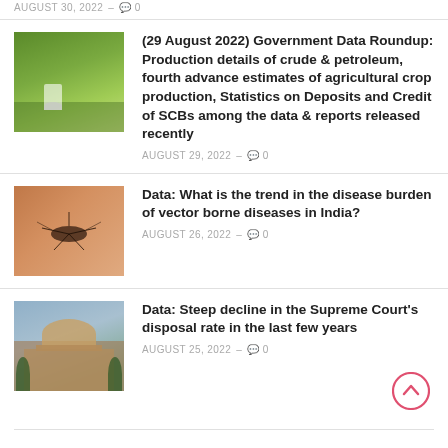[Figure (photo): Partial top image - aerial/building view, cropped]
AUGUST 30, 2022 – 0
[Figure (photo): Green rice paddy field with a farmer in white]
(29 August 2022) Government Data Roundup: Production details of crude & petroleum, fourth advance estimates of agricultural crop production, Statistics on Deposits and Credit of SCBs among the data & reports released recently
AUGUST 29, 2022 – 0
[Figure (photo): Close-up of a mosquito on human skin]
Data: What is the trend in the disease burden of vector borne diseases in India?
AUGUST 26, 2022 – 0
[Figure (photo): Supreme Court of India building with dome and trees]
Data: Steep decline in the Supreme Court's disposal rate in the last few years
AUGUST 25, 2022 – 0